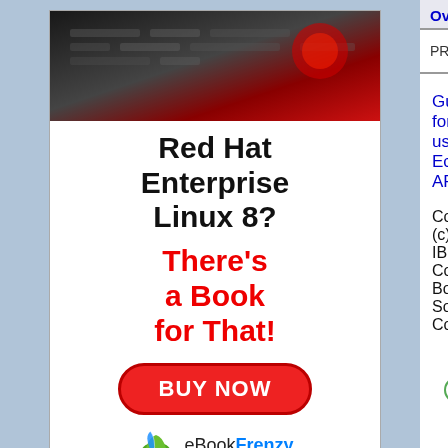[Figure (illustration): Advertisement for eBookFrenzy: Red Hat Enterprise Linux 8 book ad with 'Essentials' banner image, red headline text, and BUY NOW button. eBookFrenzy logo at bottom.]
Overview Package Class Use Tree D
PREV NEXT   NO FRAMES
Guidelines for using Eclipse APIs.
Copyright (c) IBM Corp., Borland Software Co
ezoic   report this ad